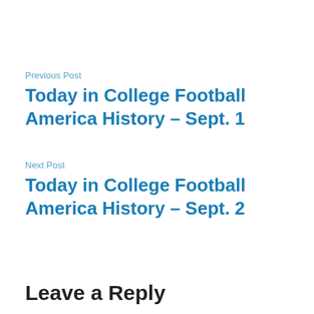Previous Post
Today in College Football America History – Sept. 1
Next Post
Today in College Football America History – Sept. 2
Leave a Reply